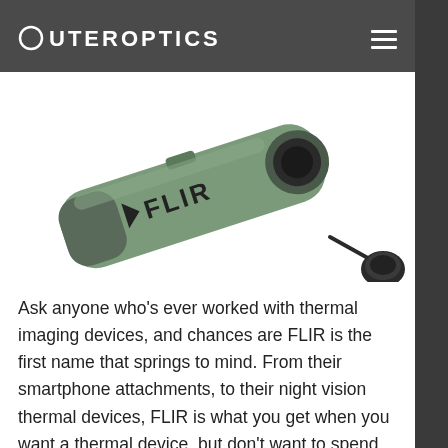OUTEROPTICS
[Figure (photo): A FLIR thermal imaging monocular device in olive/green color with FLIR logo, shown at an angle with lens cap attached via tether]
Ask anyone who’s ever worked with thermal imaging devices, and chances are FLIR is the first name that springs to mind. From their smartphone attachments, to their night vision thermal devices, FLIR is what you get when you want a thermal device, but don’t want to spend north of $10k. The FLIR Scout TK is a pocket